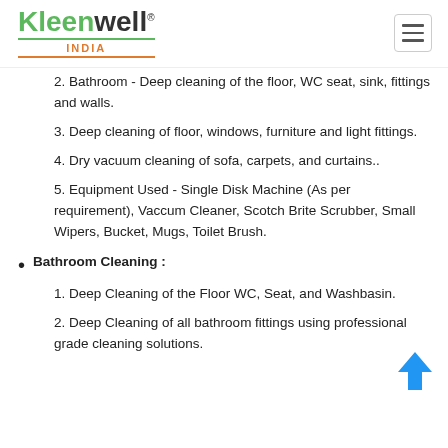Kleenwell® INDIA
2. Bathroom - Deep cleaning of the floor, WC seat, sink, fittings and walls.
3. Deep cleaning of floor, windows, furniture and light fittings.
4. Dry vacuum cleaning of sofa, carpets, and curtains..
5. Equipment Used - Single Disk Machine (As per requirement), Vaccum Cleaner, Scotch Brite Scrubber, Small Wipers, Bucket, Mugs, Toilet Brush.
Bathroom Cleaning :
1. Deep Cleaning of the Floor WC, Seat, and Washbasin.
2. Deep Cleaning of all bathroom fittings using professional grade cleaning solutions.